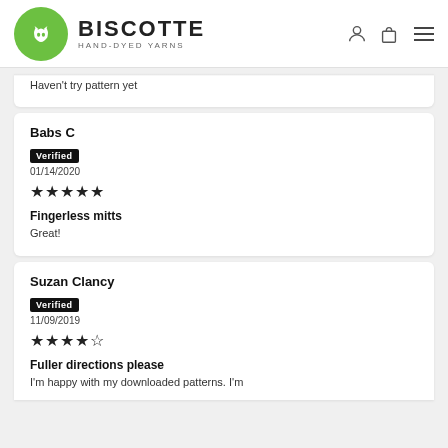[Figure (logo): Biscotte Hand-Dyed Yarns logo with green circle containing a white cat silhouette]
Haven't try pattern yet
Babs C
Verified
01/14/2020
★★★★★
Fingerless mitts
Great!
Suzan Clancy
Verified
11/09/2019
★★★★☆
Fuller directions please
I'm happy with my downloaded patterns. I'm